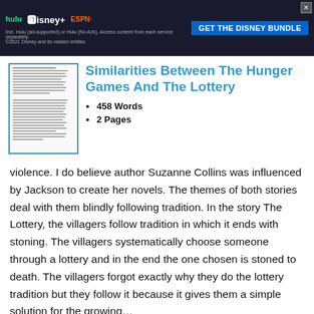[Figure (screenshot): Hulu Disney+ ESPN+ advertisement banner with 'GET THE DISNEY BUNDLE' call to action]
[Figure (screenshot): Thumbnail image of essay document page]
Similarities Between The Hunger Games And The Lottery
458 Words
2 Pages
violence. I do believe author Suzanne Collins was influenced by Jackson to create her novels. The themes of both stories deal with them blindly following tradition. In the story The Lottery, the villagers follow tradition in which it ends with stoning. The villagers systematically choose someone through a lottery and in the end the one chosen is stoned to death. The villagers forgot exactly why they do the lottery tradition but they follow it because it gives them a simple solution for the growing…